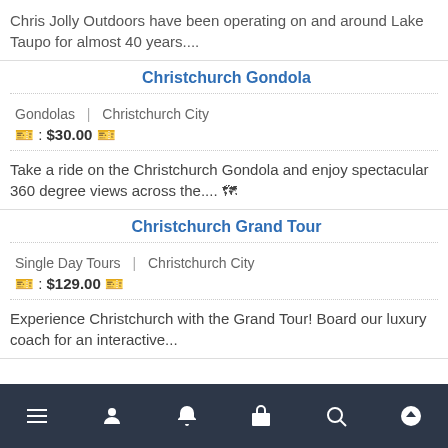Chris Jolly Outdoors have been operating on and around Lake Taupo for almost 40 years....
Christchurch Gondola
Gondolas | Christchurch City
🎫 : $30.00 🎫
Take a ride on the Christchurch Gondola and enjoy spectacular 360 degree views across the.... 🗺
Christchurch Grand Tour
Single Day Tours | Christchurch City
🎫 : $129.00 🎫
Experience Christchurch with the Grand Tour! Board our luxury coach for an interactive...
Navigation bar with icons: menu, user, bell, bag, search, up